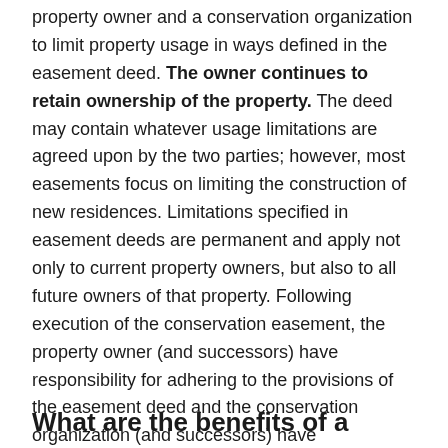property owner and a conservation organization to limit property usage in ways defined in the easement deed. The owner continues to retain ownership of the property. The deed may contain whatever usage limitations are agreed upon by the two parties; however, most easements focus on limiting the construction of new residences. Limitations specified in easement deeds are permanent and apply not only to current property owners, but also to all future owners of that property. Following execution of the conservation easement, the property owner (and successors) have responsibility for adhering to the provisions of the easement deed and the conservation organization (and successors) have responsibility for ensuring that these provisions are not violated.
What are the benefits of a